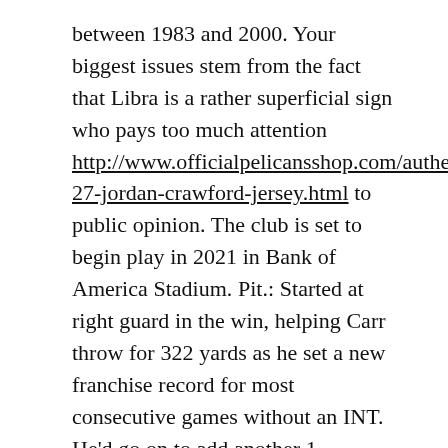between 1983 and 2000. Your biggest issues stem from the fact that Libra is a rather superficial sign who pays too much attention http://www.officialpelicansshop.com/authentic-27-jordan-crawford-jersey.html to public opinion. The club is set to begin play in 2021 in Bank of America Stadium. Pit.: Started at right guard in the win, helping Carr throw for 322 yards as he set a new franchise record for most consecutive games without an INT. He'd go on to add another 1 receiving yards and nine touchdowns to his resume in 2017, but the air around http://www.baltimoreravenslockerroom.com/iman-marshall-jersey-wholesale him that once smelled fragrant was rapidly souring — deteriorating to the point where the usually forgiving and player-centric Steelers began to notice a tinge of mustard gas. He has two interceptions this year after having three in his first season with the Titans.